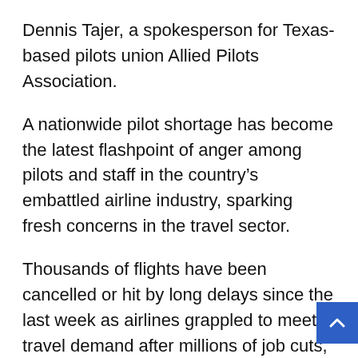Dennis Tajer, a spokesperson for Texas-based pilots union Allied Pilots Association.
A nationwide pilot shortage has become the latest flashpoint of anger among pilots and staff in the country's embattled airline industry, sparking fresh concerns in the travel sector.
Thousands of flights have been cancelled or hit by long delays since the last week as airlines grappled to meet travel demand after millions of job cuts, buyouts during the Covid pandemic and thousands of retirements.
More than 1,300 Southwest airlines pilots picketed on Tuesday in Dallas, Texas to raise issues of pilot